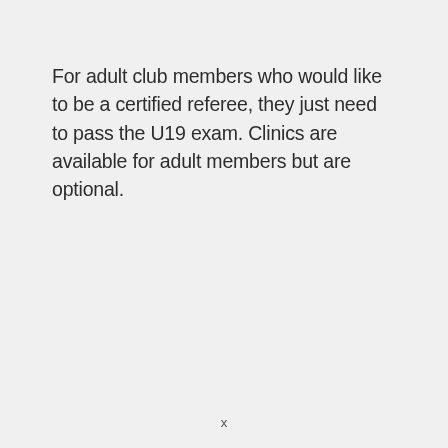For adult club members who would like to be a certified referee, they just need to pass the U19 exam. Clinics are available for adult members but are optional.
x